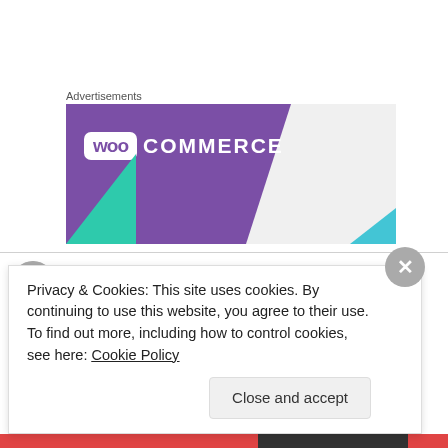[Figure (logo): WooCommerce advertisement banner with purple background, WOO box logo and COMMERCE text, green triangle bottom-left, blue triangle bottom-right, gray background]
bikerchick57 on April 9, 2015 at 5:22 pm
Privacy & Cookies: This site uses cookies. By continuing to use this website, you agree to their use.
To find out more, including how to control cookies, see here: Cookie Policy